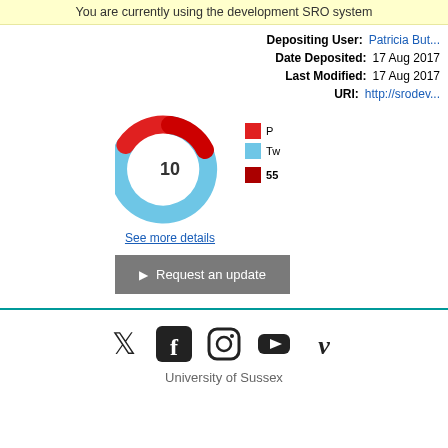You are currently using the development SRO system
Depositing User: Patricia Bu...
Date Deposited: 17 Aug 2017
Last Modified: 17 Aug 2017
URI: http://srodev...
[Figure (donut-chart): Altmetric donut chart showing score of 10, with red and light blue segments]
See more details
Request an update
University of Sussex